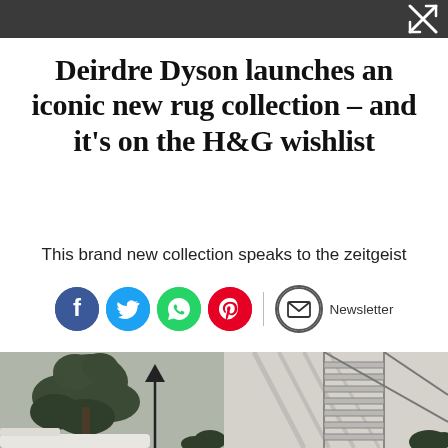[close/fullscreen control bar]
Deirdre Dyson launches an iconic new rug collection – and it's on the H&G wishlist
This brand new collection speaks to the zeitgeist
[Figure (infographic): Social sharing icons row: Facebook (blue), Twitter (blue), WhatsApp (green), Pinterest (red), Email (white/grey circle), Newsletter label]
[Figure (photo): Split photograph: left side shows an interior with a large fiddle-leaf fig plant and a black floor lamp; right side shows a staircase with metal railings and light shadow patterns on a pale wall, with dark foliage visible at bottom right]